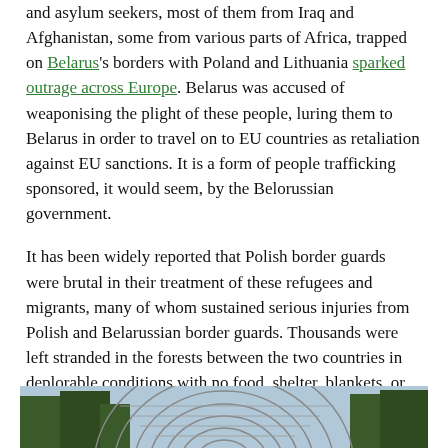and asylum seekers, most of them from Iraq and Afghanistan, some from various parts of Africa, trapped on Belarus's borders with Poland and Lithuania sparked outrage across Europe. Belarus was accused of weaponising the plight of these people, luring them to Belarus in order to travel on to EU countries as retaliation against EU sanctions. It is a form of people trafficking sponsored, it would seem, by the Belorussian government.
It has been widely reported that Polish border guards were brutal in their treatment of these refugees and migrants, many of whom sustained serious injuries from Polish and Belarussian border guards. Thousands were left stranded in the forests between the two countries in deplorable conditions with no food, shelter, blankets, or medicines: at least 19 migrants died in the freezing winter temperatures.
[Figure (photo): Bottom portion of a photograph showing what appears to be a wire fence or barrier structure with trees and a light blue sky in the background.]